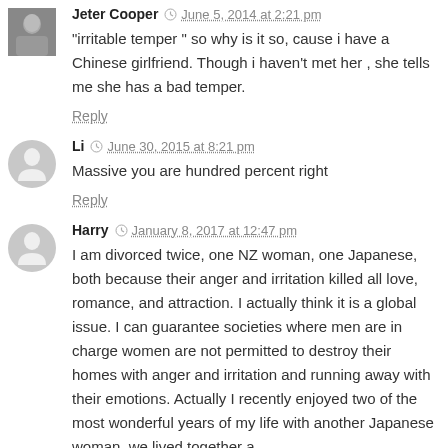Jeter Cooper · June 5, 2014 at 2:21 pm
"irritable temper " so why is it so, cause i have a Chinese girlfriend. Though i haven't met her , she tells me she has a bad temper.
Reply
Li · June 30, 2015 at 8:21 pm
Massive you are hundred percent right
Reply
Harry · January 8, 2017 at 12:47 pm
I am divorced twice, one NZ woman, one Japanese, both because their anger and irritation killed all love, romance, and attraction. I actually think it is a global issue. I can guarantee societies where men are in charge women are not permitted to destroy their homes with anger and irritation and running away with their emotions. Actually I recently enjoyed two of the most wonderful years of my life with another Japanese woman, we lived together a